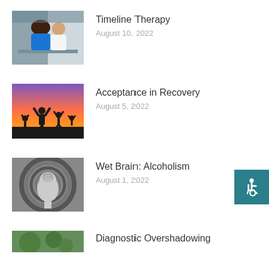[Figure (photo): Two people in an office setting, one with curly hair facing away]
Timeline Therapy
August 10, 2022
[Figure (photo): Silhouettes of people jumping with arms raised against a sunset sky]
Acceptance in Recovery
August 5, 2022
[Figure (photo): Black and white image of a human head/brain in a tunnel]
Wet Brain: Alcoholism
August 1, 2022
[Figure (photo): Partially visible photo at bottom of page]
Diagnostic Overshadowing
[Figure (infographic): Accessibility icon (wheelchair symbol) on teal background button]